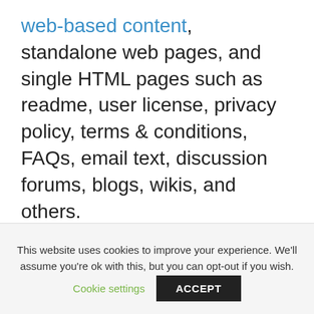web-based content, standalone web pages, and single HTML pages such as readme, user license, privacy policy, terms & conditions, FAQs, email text, discussion forums, blogs, wikis, and others.
Interestingly, you can author Web Help in Markdown FREE. Most of the Markdown editing tools are open source and can be used at no cost at all.
This website uses cookies to improve your experience. We'll assume you're ok with this, but you can opt-out if you wish.
Cookie settings
ACCEPT